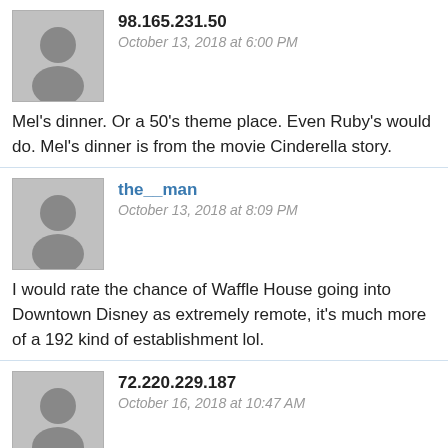98.165.231.50
October 13, 2018 at 6:00 PM
Mel's dinner. Or a 50's theme place. Even Ruby's would do. Mel's dinner is from the movie Cinderella story.
the__man
October 13, 2018 at 8:09 PM
I would rate the chance of Waffle House going into Downtown Disney as extremely remote, it's much more of a 192 kind of establishment lol.
72.220.229.187
October 16, 2018 at 10:47 AM
Adventurer's Club or another themed bar for sure! They are really popular in LA too, so I bet a lot of locals would go there when they visited DL.